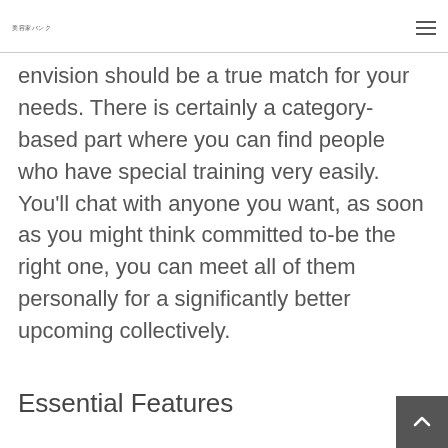美容家バンク
envision should be a true match for your needs. There is certainly a category-based part where you can find people who have special training very easily. You'll chat with anyone you want, as soon as you might think committed to-be the right one, you can meet all of them personally for a significantly better upcoming collectively.
Essential Features